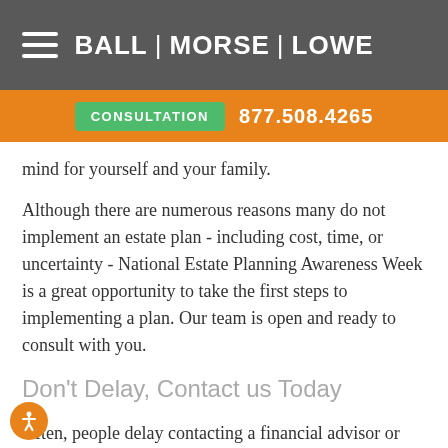BALL | MORSE | LOWE
CONSULTATION  877.508.4265
mind for yourself and your family.
Although there are numerous reasons many do not implement an estate plan - including cost, time, or uncertainty - National Estate Planning Awareness Week is a great opportunity to take the first steps to implementing a plan. Our team is open and ready to consult with you.
Don't Delay, Contact us Today
Often, people delay contacting a financial advisor or estate planning attorney until there is an emergency or death of a loved one. Stressful circumstances can escalate when there is no estate plan in place - often leading to a costly situation that could have been resolved through planning. Be fully prepared and alleviate stress by having a plan in place for